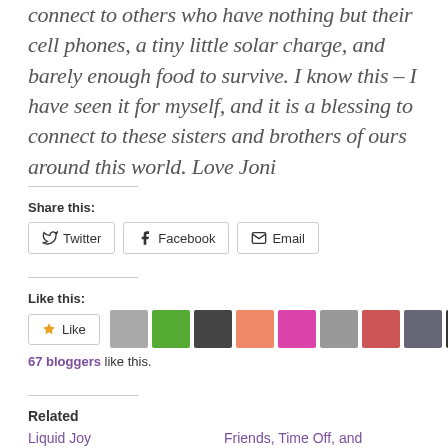connect to others who have nothing but their cell phones, a tiny little solar charge, and barely enough food to survive. I know this – I have seen it for myself, and it is a blessing to connect to these sisters and brothers of ours around this world. Love Joni
Share this:
Twitter  Facebook  Email
Like this:
67 bloggers like this.
Related
Liquid Joy
March 28, 2020
Friends, Time Off, and Gabriola's New Collection